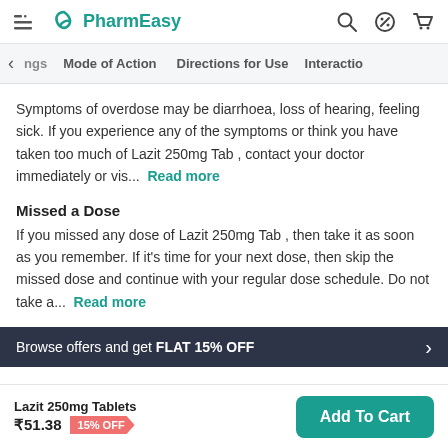PharmEasy
Mode of Action | Directions for Use | Interactions
Symptoms of overdose may be diarrhoea, loss of hearing, feeling sick. If you experience any of the symptoms or think you have taken too much of Lazit 250mg Tab , contact your doctor immediately or vis...  Read more
Missed a Dose
If you missed any dose of Lazit 250mg Tab , then take it as soon as you remember. If it's time for your next dose, then skip the missed dose and continue with your regular dose schedule. Do not take a...  Read more
Browse offers and get FLAT 15% OFF
Lazit 250mg Tablets ₹51.38  15% OFF
Add To Cart